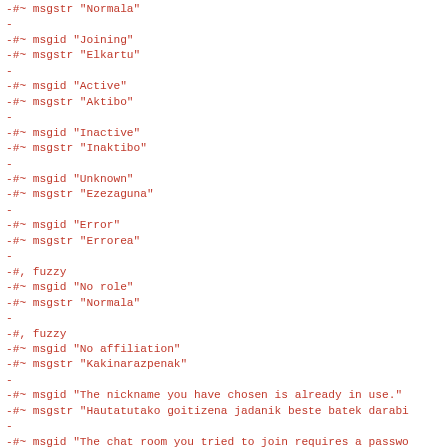-#~ msgstr "Normala"
-
-#~ msgid "Joining"
-#~ msgstr "Elkartu"
-
-#~ msgid "Active"
-#~ msgstr "Aktibo"
-
-#~ msgid "Inactive"
-#~ msgstr "Inaktibo"
-
-#~ msgid "Unknown"
-#~ msgstr "Ezezaguna"
-
-#~ msgid "Error"
-#~ msgstr "Errorea"
-
-#, fuzzy
-#~ msgid "No role"
-#~ msgstr "Normala"
-
-#, fuzzy
-#~ msgid "No affiliation"
-#~ msgstr "Kakinarazpenak"
-
-#~ msgid "The nickname you have chosen is already in use."
-#~ msgstr "Hautatutako goitizena jadanik beste batek darabi
-
-#~ msgid "The chat room you tried to join requires a passwo
-#~ msgstr "Elkartzea nahi duzun berriketako gelak pasahitza
-
-#~ msgid "The remote conference server did not respond in a
-#~ msgstr ""